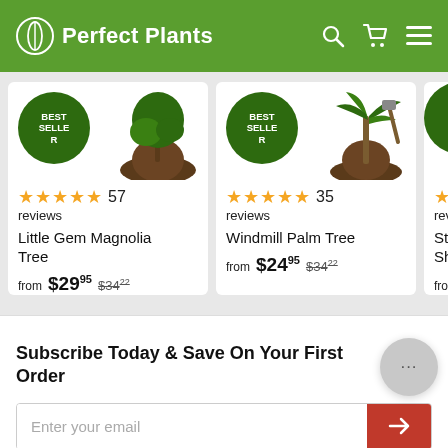Perfect Plants
[Figure (screenshot): Product card: Little Gem Magnolia Tree, 57 reviews, from $29.95, was $34.22, Best Seller badge]
[Figure (screenshot): Product card: Windmill Palm Tree, 35 reviews, from $24.95, was $34.22, Best Seller badge]
[Figure (screenshot): Product card (partial): Star J... Shrub, reviews partial, from $2..., Best Seller badge]
Subscribe Today & Save On Your First Order
Enter your email